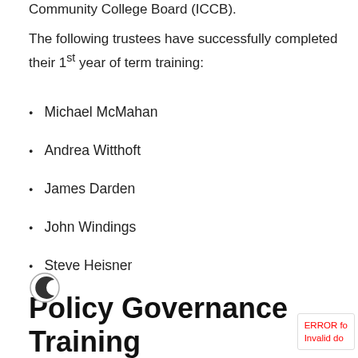Community College Board (ICCB).
The following trustees have successfully completed their 1st year of term training:
Michael McMahan
Andrea Witthoft
James Darden
John Windings
Steve Heisner
Policy Governance Training